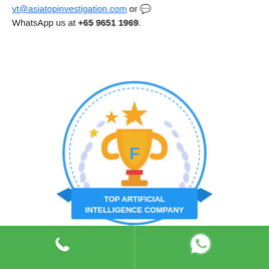vt@asiatopinvestigation.com or [icon] WhatsApp us at +65 9651 1969.
[Figure (logo): GoodFirms badge: circular blue-bordered badge with gold trophy, stars, laurel wreath, and blue ribbon banner reading 'TOP ARTIFICIAL INTELLIGENCE COMPANY' with 'goodfirms.co' text]
[Figure (other): Green footer bar with white phone icon on left half and white WhatsApp icon on right half]